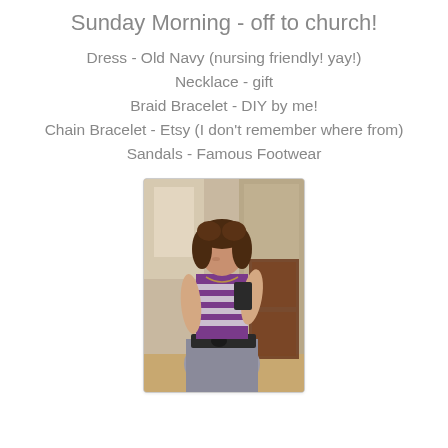Sunday Morning - off to church!
Dress - Old Navy (nursing friendly! yay!)
Necklace - gift
Braid Bracelet - DIY by me!
Chain Bracelet - Etsy (I don't remember where from)
Sandals - Famous Footwear
[Figure (photo): Woman in a purple and white striped dress with a grey skirt and black belt, taking a mirror selfie]